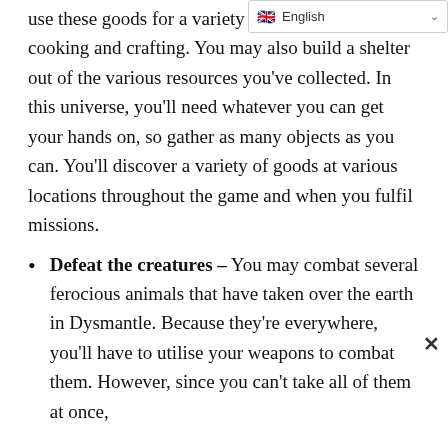use these goods for a variety of purposes, including cooking and crafting. You may also build a shelter out of the various resources you've collected. In this universe, you'll need whatever you can get your hands on, so gather as many objects as you can. You'll discover a variety of goods at various locations throughout the game and when you fulfil missions.
Defeat the creatures – You may combat several ferocious animals that have taken over the earth in Dysmantle. Because they're everywhere, you'll have to utilise your weapons to combat them. However, since you can't take all of them at once,